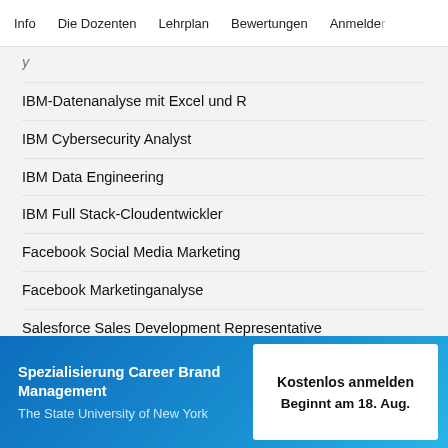Info   Die Dozenten   Lehrplan   Bewertungen   Anmelden
IBM-Datenanalyse mit Excel und R
IBM Cybersecurity Analyst
IBM Data Engineering
IBM Full Stack-Cloudentwickler
Facebook Social Media Marketing
Facebook Marketinganalyse
Salesforce Sales Development Representative
Sales Operations in Salesforce
Buchhaltung mit Intuit
Vorbereitung auf die Google Cloud-Zertifizierung: Cloud Architect
Spezialisierung Career Brand Management
The State University of New York
Kostenlos anmelden
Beginnt am 18. Aug.